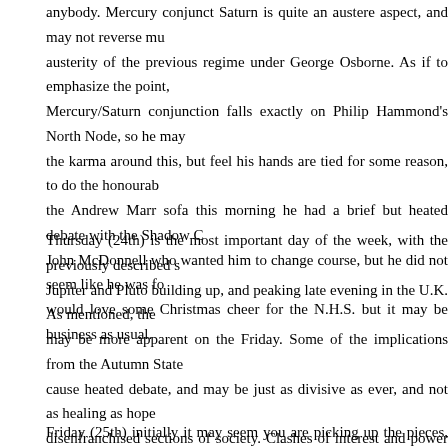anybody.  Mercury conjunct Saturn is quite an austere aspect, and may not reverse mu austerity of the previous regime under George Osborne.  As if to emphasize the point, Mercury/Saturn conjunction falls exactly on Philip Hammond's North Node, so he may the karma around this, but feel his hands are tied for some reason, to do the honourable the Andrew Marr sofa this morning he had a brief but heated debate with the Shadow C John McDonnell who wanted him to change course, but he did not seem like he was fo would love some Christmas cheer for the N.H.S. but it may be business as usual.
Thursday (24th) is the most important day of the week, with the previously described se Jupiter and Pluto building up, and peaking late evening in the U.K.  As mentioned, the e may be more apparent on the Friday.  Some of the implications from the Autumn State cause heated debate, and may be just as divisive as ever, and not as healing as hope disenfranchised sections of society.  Clashes of interest and power are likely to be man levels, from the international to the personal level.  The peak of this will at least clarify w contending with, e.g. you might find out what someone really thinks about your cherish where their interests really lie.  Again, as in the EU referendum and the US Presidentia man's meat seems like another man's poison.  It is difficult to see the whole, or unify it both sides together, but at the end of the day we are all one humanity on this globe, an find a collective way through.
Friday (25th) initially it may seem you are picking up the pieces, and trying to make sen